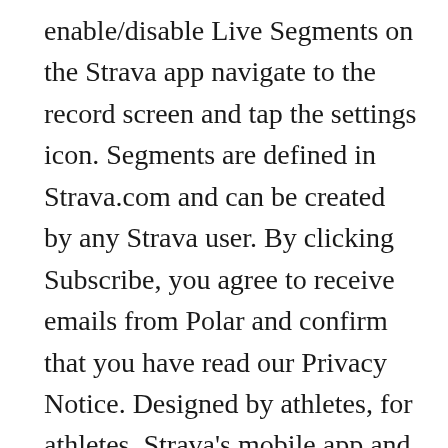enable/disable Live Segments on the Strava app navigate to the record screen and tap the settings icon. Segments are defined in Strava.com and can be created by any Strava user. By clicking Subscribe, you agree to receive emails from Polar and confirm that you have read our Privacy Notice. Designed by athletes, for athletes, Strava's mobile app and website connect millions of runners and cyclists through the sports they love. Strava Segments are previously defined sections of road or trail where athletes can compete for time in cycling or running. Please aware that you will need an active data connection to complete this step. Kind of like a group ride of